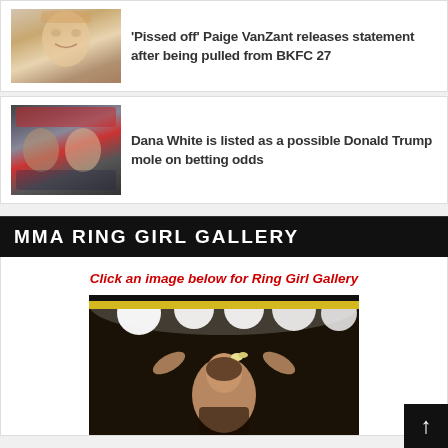[Figure (photo): Thumbnail photo of Paige VanZant smiling]
'Pissed off' Paige VanZant releases statement after being pulled from BKFC 27
[Figure (photo): Thumbnail photo of Dana White with Donald Trump at a rally]
Dana White is listed as a possible Donald Trump mole on betting odds
MMA RING GIRL GALLERY
Click an image below for Ring Girl Gallery
[Figure (photo): MMA ring girl with arms raised and bright arena lights behind her, wearing a flower in her hair]